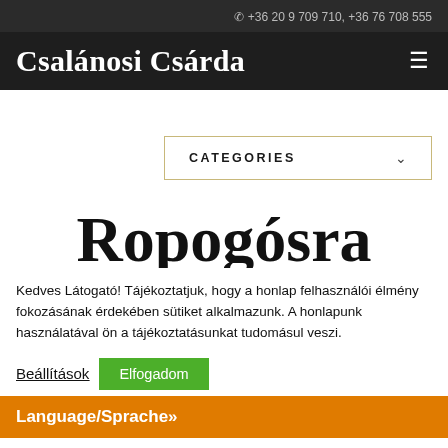+36 20 9 709 710, +36 76 708 555
Csalánosi Csárda
CATEGORIES
Ropogósra
Kedves Látogató! Tájékoztatjuk, hogy a honlap felhasználói élmény fokozásának érdekében sütiket alkalmazunk. A honlapunk használatával ön a tájékoztatásunkat tudomásul veszi.
Beállítások
Elfogadom
Language/Sprache»